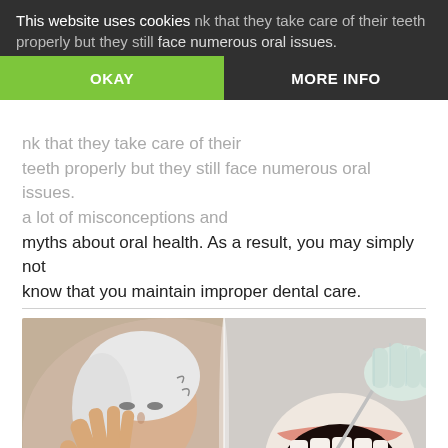This website uses cookies nk that they take care of their teeth properly but they still face numerous oral issues. a lot of misconceptions and myths about oral health. As a result, you may simply not know that you maintain improper dental care.
[Figure (photo): Composite image: left side shows an elderly woman with white hair looking at her hand in pain (arthritis), right side shows a dental examination with gloved hands using dental tools inside an open mouth.]
Gum Disease May be an Initiator of Arthritis
DENTAL How many times has it happened that you had a